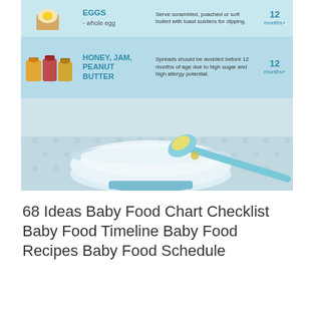[Figure (infographic): Baby food introduction infographic showing rows for Eggs (whole egg) and Honey, Jam, Peanut Butter with descriptions and recommended age of 12 months+, plus a photo of a blue baby bowl with a spoon containing yellow puree on a blue dotted tablecloth.]
68 Ideas Baby Food Chart Checklist Baby Food Timeline Baby Food Recipes Baby Food Schedule